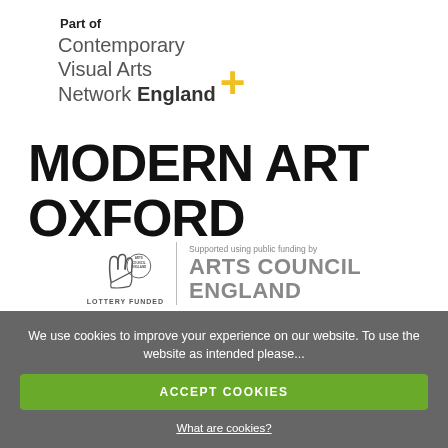Part of
[Figure (logo): Contemporary Visual Arts Network England logo with yellow plus sign]
[Figure (logo): Modern Art Oxford logo in bold black uppercase text]
[Figure (logo): Arts Council England Lottery Funded logo with crossed fingers and circular badge]
We use cookies to improve your experience on our website. To use the website as intended please...
ACCEPT COOKIES
What are cookies?